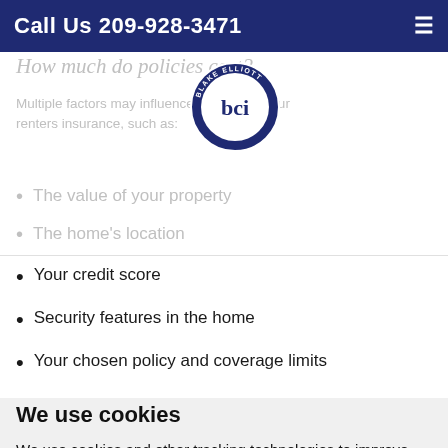Call Us 209-928-3471
How much do policies cost?
Multiple factors may influence the cost of your renters insurance, such as:
[Figure (logo): Blake Elliott Insurance circular logo with 'bci' monogram and text 'BLAKE ELLIOTT INSURANCE' around the border]
The value of your property
The home's location
Your credit score
Security features in the home
Your chosen policy and coverage limits
We use cookies
We use cookies and other tracking technologies to improve your browsing experience on our website, to show you personalized content and targeted ads, to analyze our website traffic, and to understand where our visitors are coming from.